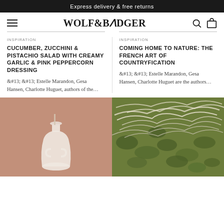Express delivery & free returns
[Figure (logo): Wolf & Badger navigation bar with hamburger menu, logo, search and bag icons]
INSPIRATION
CUCUMBER, ZUCCHINI & PISTACHIO SALAD WITH CREAMY GARLIC & PINK PEPPERCORN DRESSING
&#13; &#13; Estelle Marandon, Gesa Hansen, Charlotte Huguet, authors of the...
INSPIRATION
COMING HOME TO NATURE: THE FRENCH ART OF COUNTRYFICATION
&#13; &#13; Estelle Marandon, Gesa Hansen, Charlotte Huguet are the authors...
[Figure (photo): Pink/terracotta background with white ceramic vase]
[Figure (photo): Close-up of green vegetables (gnocchi or similar) topped with shredded cheese]